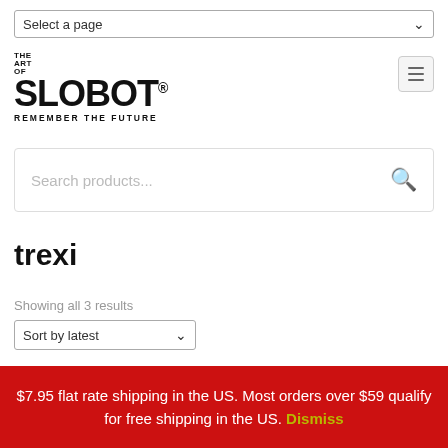Select a page
[Figure (logo): The Art of SLOBOT - REMEMBER THE FUTURE logo]
[Figure (other): Hamburger menu button]
[Figure (other): Search products... search box with magnifying glass icon]
trexi
Showing all 3 results
Sort by latest
$7.95 flat rate shipping in the US. Most orders over $59 qualify for free shipping in the US. Dismiss